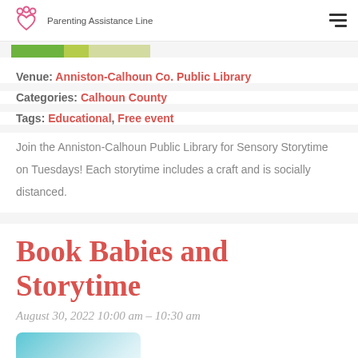Parenting Assistance Line
[Figure (other): Green and yellow banner image strip]
Venue: Anniston-Calhoun Co. Public Library
Categories: Calhoun County
Tags: Educational, Free event
Join the Anniston-Calhoun Public Library for Sensory Storytime on Tuesdays! Each storytime includes a craft and is socially distanced.
Book Babies and Storytime
August 30, 2022 10:00 am – 10:30 am
[Figure (photo): Partial image at bottom of page, teal/light blue tones]